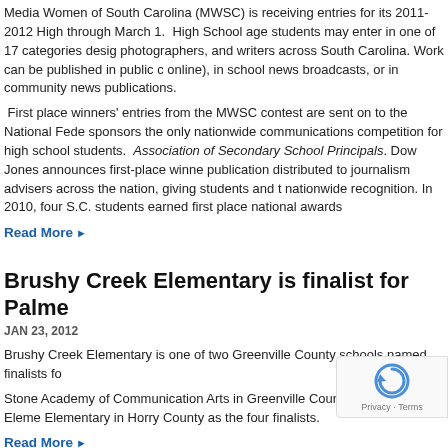Media Women of South Carolina (MWSC) is receiving entries for its 2011-2012 High through March 1. High School age students may enter in one of 17 categories desig photographers, and writers across South Carolina. Work can be published in public c online), in school news broadcasts, or in community news publications.
First place winners' entries from the MWSC contest are sent on to the National Fede sponsors the only nationwide communications competition for high school students. Association of Secondary School Principals. Dow Jones announces first-place winne publication distributed to journalism advisers across the nation, giving students and t nationwide recognition. In 2010, four S.C. students earned first place national awards
Read More ▶
Brushy Creek Elementary is finalist for Palme
JAN 23, 2012
Brushy Creek Elementary is one of two Greenville County schools named finalists fo
Stone Academy of Communication Arts in Greenville County joins Beech Hill Eleme Elementary in Horry County as the four finalists.
Read More ▶